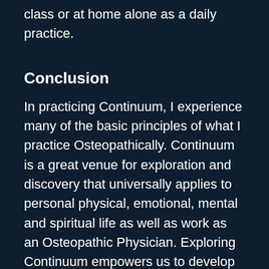class or at home alone as a daily practice.
Conclusion
In practicing Continuum, I experience many of the basic principles of what I practice Osteopathically. Continuum is a great venue for exploration and discovery that universally applies to personal physical, emotional, mental and spiritual life as well as work as an Osteopathic Physician. Exploring Continuum empowers us to develop